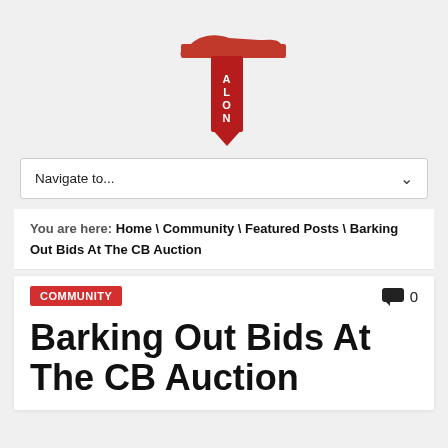[Figure (logo): Talon publication logo — large red T with a stylized eagle wing, letters ALON in white on the vertical stroke]
Navigate to...
You are here: Home \ Community \ Featured Posts \ Barking Out Bids At The CB Auction
COMMUNITY
0
Barking Out Bids At The CB Auction